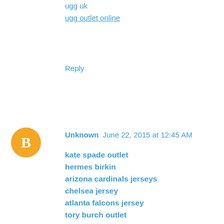ugg uk
ugg outlet online
Reply
[Figure (logo): Orange circle with white letter B blogger avatar icon]
Unknown  June 22, 2015 at 12:45 AM
kate spade outlet
hermes birkin
arizona cardinals jerseys
chelsea jersey
atlanta falcons jersey
tory burch outlet
oakley sunglasses
golden state warriors jerseys
the north face outlet store
soccer shoes
seattle seahawks jerseys
custom mlb jerseys
barcelona jersey
air jordan shoes
the north face outlet